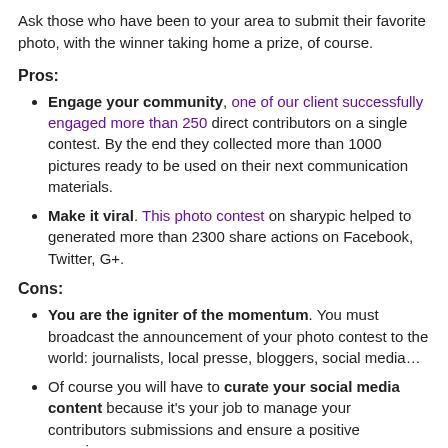Ask those who have been to your area to submit their favorite photo, with the winner taking home a prize, of course.
Pros:
Engage your community, one of our client successfully engaged more than 250 direct contributors on a single contest. By the end they collected more than 1000 pictures ready to be used on their next communication materials.
Make it viral. This photo contest on sharypic helped to generated more than 2300 share actions on Facebook, Twitter, G+.
Cons:
You are the igniter of the momentum. You must broadcast the announcement of your photo contest to the world: journalists, local presse, bloggers, social media…
Of course you will have to curate your social media content because it's your job to manage your contributors submissions and ensure a positive experience.
Be sure to provide a clear and bullet proofed term of use : no joke. Tips: check in your network if one of your connexion